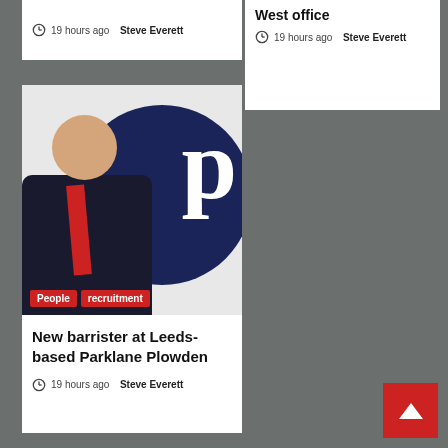19 hours ago  Steve Everett
West office
19 hours ago  Steve Everett
[Figure (photo): A man in a dark suit with a red tie standing in front of a dark navy circular logo with the letter 'p' visible]
People
recruitment
New barrister at Leeds-based Parklane Plowden
19 hours ago  Steve Everett